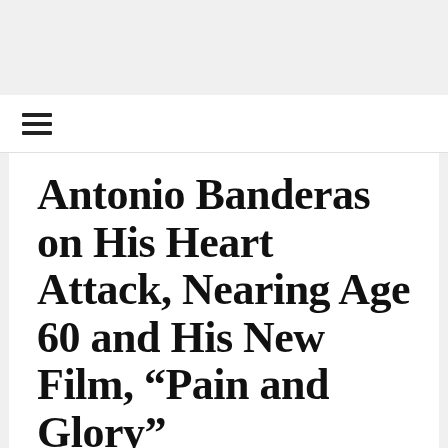[Figure (other): Hamburger menu icon (three horizontal lines)]
Antonio Banderas on His Heart Attack, Nearing Age 60 and His New Film, “Pain and Glory”
MIKE CRISOLAGO | SEPTEMBER 30TH, 2019